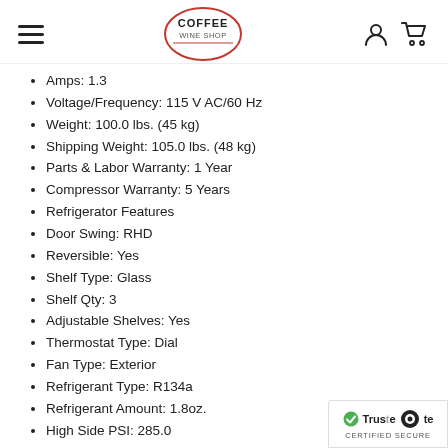COFFEE WINE SHOP
Amps: 1.3
Voltage/Frequency: 115 V AC/60 Hz
Weight: 100.0 lbs. (45 kg)
Shipping Weight: 105.0 lbs. (48 kg)
Parts & Labor Warranty: 1 Year
Compressor Warranty: 5 Years
Refrigerator Features
Door Swing: RHD
Reversible: Yes
Shelf Type: Glass
Shelf Qty: 3
Adjustable Shelves: Yes
Thermostat Type: Dial
Fan Type: Exterior
Refrigerant Type: R134a
Refrigerant Amount: 1.8oz.
High Side PSI: 285.0
Low Side PSI: 88.0
Level Legs Qty: 4